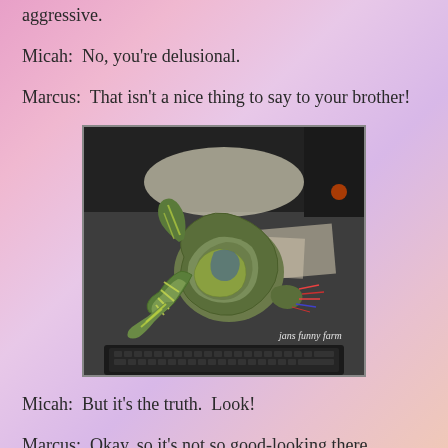aggressive.
Micah:  No, you're delusional.
Marcus:  That isn't a nice thing to say to your brother!
[Figure (photo): A colorful rope knot toy (green, yellow, blue) sitting on a dark desk surface with a computer monitor visible in the background. Watermark reads 'jans funny farm'.]
Micah:  But it's the truth.  Look!
Marcus:  Okay, so it's not so good-looking there.